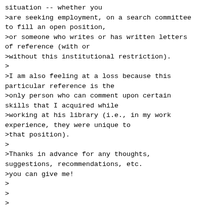situation -- whether you
>are seeking employment, on a search committee to fill an open position,
>or someone who writes or has written letters of reference (with or
>without this institutional restriction).
>
>I am also feeling at a loss because this particular reference is the
>only person who can comment upon certain skills that I acquired while
>working at his library (i.e., in my work experience, they were unique to
>that position).
>
>Thanks in advance for any thoughts, suggestions, recommendations, etc.
>you can give me!
>
>
>